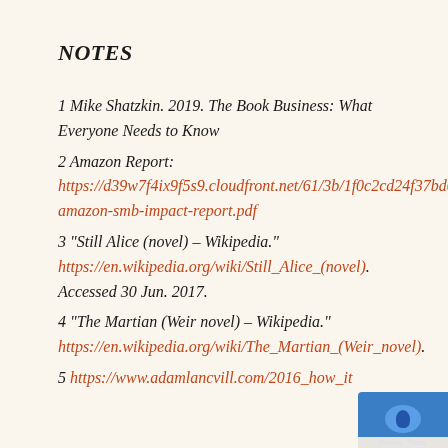NOTES
1 Mike Shatzkin. 2019. The Book Business: What Everyone Needs to Know
2 Amazon Report: https://d39w7f4ix9f5s9.cloudfront.net/61/3b/1f0c2cd24f37bd0e3794c284cd2f/2019-amazon-smb-impact-report.pdf
3 “Still Alice (novel) – Wikipedia.” https://en.wikipedia.org/wiki/Still_Alice_(novel). Accessed 30 Jun. 2017.
4 “The Martian (Weir novel) – Wikipedia.” https://en.wikipedia.org/wiki/The_Martian_(Weir_novel).
5 https://www.adamlancvill.com/2016_how_it